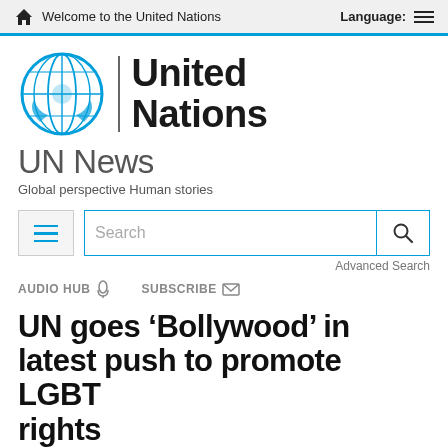Welcome to the United Nations   Language:
[Figure (logo): United Nations official logo with emblem and text 'United Nations']
UN News
Global perspective Human stories
Search   Advanced Search
AUDIO HUB  SUBSCRIBE
UN goes ‘Bollywood’ in latest push to promote LGBT rights